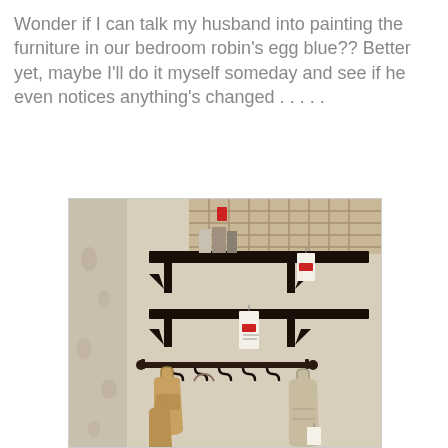Wonder if I can talk my husband into painting the furniture in our bedroom robin's egg blue?? Better yet, maybe I'll do it myself someday and see if he even notices anything's changed . . . . .
[Figure (photo): Photo of dark brown wall-mounted shelving unit from IKEA with two shelves and a hanging rod with S-hooks, from which tan/brown handbags are hanging. A woven basket sits on top. The shelves have price tags on them. The wall is beige and there is a floral curtain on the left side.]